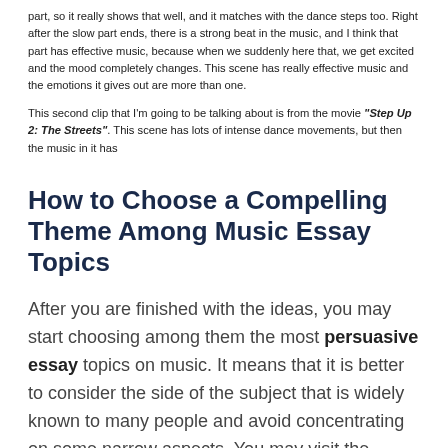part, so it really shows that well, and it matches with the dance steps too. Right after the slow part ends, there is a strong beat in the music, and I think that part has effective music, because when we suddenly here that, we get excited and the mood completely changes. This scene has really effective music and the emotions it gives out are more than one.
This second clip that I'm going to be talking about is from the movie "Step Up 2: The Streets". This scene has lots of intense dance movements, but then the music in it has
How to Choose a Compelling Theme Among Music Essay Topics
After you are finished with the ideas, you may start choosing among them the most persuasive essay topics on music. It means that it is better to consider the side of the subject that is widely known to many people and avoid concentrating on some narrow aspects. You may visit the Internet and check the top most discussed music topics for essay.